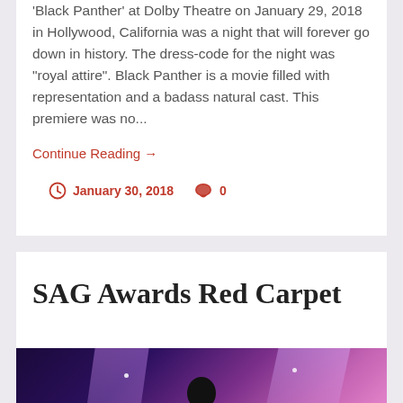'Black Panther' at Dolby Theatre on January 29, 2018 in Hollywood, California was a night that will forever go down in history. The dress-code for the night was "royal attire". Black Panther is a movie filled with representation and a badass natural cast. This premiere was no...
Continue Reading →
January 30, 2018   0
SAG Awards Red Carpet
[Figure (photo): Dark photo from SAG Awards showing a silhouette of a person against purple and pink stage lighting with light streaks]